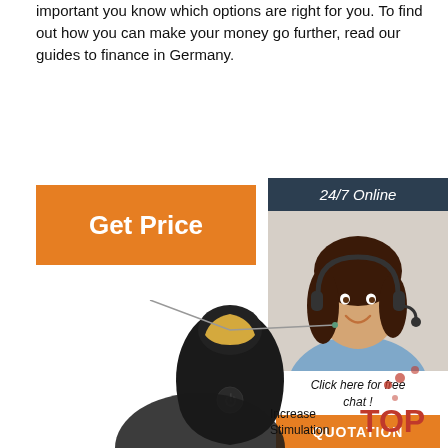important you know which options are right for you. To find out how you can make your money go further, read our guides to finance in Germany.
[Figure (other): Orange 'Get Price' button]
[Figure (other): 24/7 Online chat widget with female customer service representative photo, 'Click here for free chat!' text, and orange QUOTATION button]
[Figure (photo): Black electronic handheld device with yellow light element, shown with callout lines. 'Increase Stimulation' label with red TOP badge in lower right.]